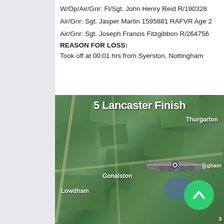W/Op/Air/Gnr: Fl/Sgt. John Henry Reid R/190328
Air/Gnr: Sgt. Jasper Martin 1595881 RAFVR Age 2
Air/Gnr: Sgt. Joseph Francis Fitzgibbon R/264756
REASON FOR LOSS:
Took off at 00:01 hrs from Syerston, Nottingham
[Figure (map): Aerial/satellite map showing the Nottinghamshire area around Syerston with place labels including Thurgarton, Gonalston, and Lowdham. Overlaid with a Lancaster bomber image and title '5 Lancaster Finish'. A green circular scroll-up button is visible in the lower right.]